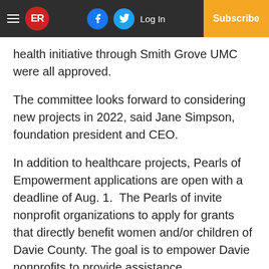ER | Log In | Subscribe
health initiative through Smith Grove UMC were all approved.
The committee looks forward to considering new projects in 2022, said Jane Simpson, foundation president and CEO.
In addition to healthcare projects, Pearls of Empowerment applications are open with a deadline of Aug. 1.  The Pearls of invite nonprofit organizations to apply for grants that directly benefit women and/or children of Davie County. The goal is to empower Davie nonprofits to provide assistance